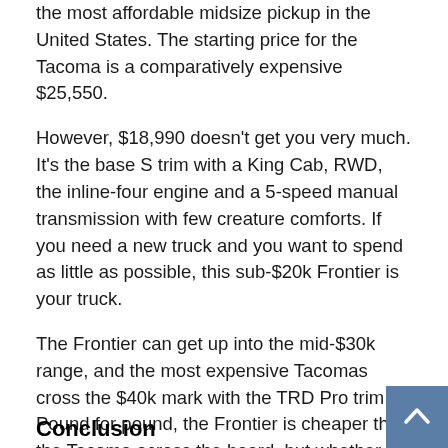the most affordable midsize pickup in the United States. The starting price for the Tacoma is a comparatively expensive $25,550.
However, $18,990 doesn't get you very much. It's the base S trim with a King Cab, RWD, the inline-four engine and a 5-speed manual transmission with few creature comforts. If you need a new truck and you want to spend as little as possible, this sub-$20k Frontier is your truck.
The Frontier can get up into the mid-$30k range, and the most expensive Tacomas cross the $40k mark with the TRD Pro trim. Pound for pound, the Frontier is cheaper than the Tacoma across the board, but whether or not it's a better value depends on what you're looking for in a truck.
Conclusion